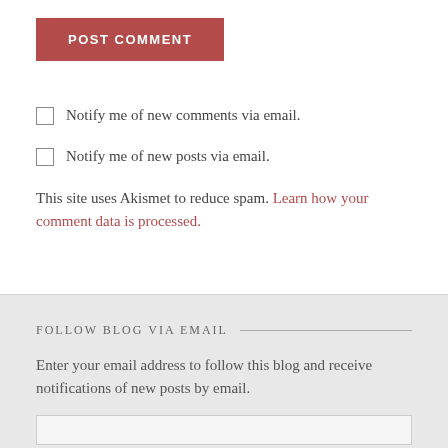[Figure (other): POST COMMENT button with dark red/crimson background and white uppercase text]
Notify me of new comments via email.
Notify me of new posts via email.
This site uses Akismet to reduce spam. Learn how your comment data is processed.
FOLLOW BLOG VIA EMAIL
Enter your email address to follow this blog and receive notifications of new posts by email.